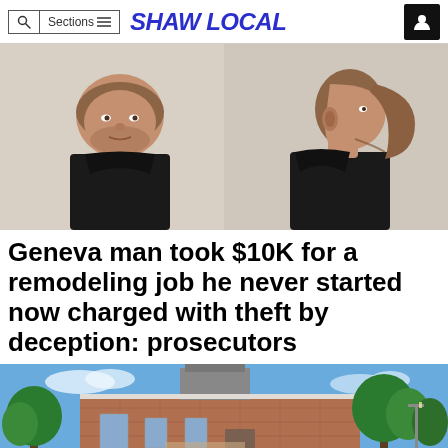Shaw Local
[Figure (photo): Mugshot of a man in a black t-shirt, front view and side profile view side by side]
Geneva man took $10K for a remodeling job he never started now charged with theft by deception: prosecutors
[Figure (photo): Exterior photo of a brick building with trees and blue sky, appears to be a church or civic building]